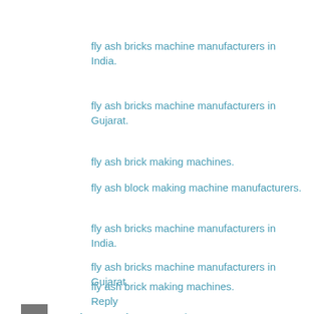fly ash bricks machine manufacturers in India.
fly ash bricks machine manufacturers in Gujarat.
fly ash brick making machines.
fly ash block making machine manufacturers.
fly ash bricks machine manufacturers in India.
fly ash bricks machine manufacturers in Gujarat.
fly ash brick making machines.
Reply
youtubecomactivate  September 6, 2020 at 11:55 PM